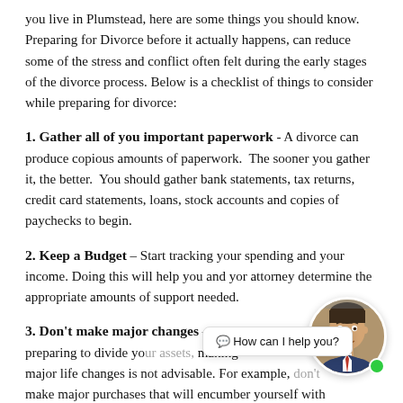you live in Plumstead, here are some things you should know. Preparing for Divorce before it actually happens, can reduce some of the stress and conflict often felt during the early stages of the divorce process. Below is a checklist of things to consider while preparing for divorce:
1. Gather all of you important paperwork - A divorce can produce copious amounts of paperwork. The sooner you gather it, the better. You should gather bank statements, tax returns, credit card statements, loans, stock accounts and copies of paychecks to begin.
2. Keep a Budget – Start tracking your spending and your income. Doing this will help you and yor attorney determine the appropriate amounts of support needed.
3. Don't make major changes – When you are preparing to divide yo... major life changes is not advisable. For example, make major purchases that will encumber yourself with
[Figure (photo): Circular avatar photo of a man in a suit with a red tie, smiling, overlaid with a chat bubble saying 'How can I help you?' and a green online indicator dot.]